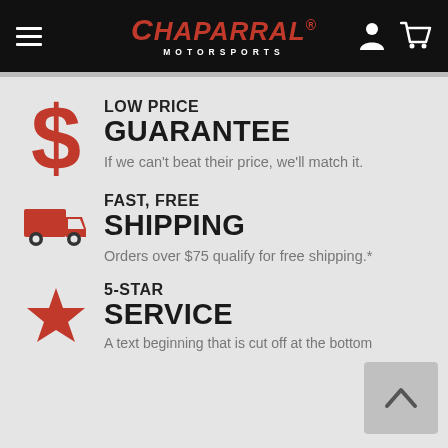Chaparral Motorsports
LOW PRICE GUARANTEE
If we can't beat their price, we'll match it.
FAST, FREE SHIPPING
Orders over $75 qualify for free shipping.*
5-STAR SERVICE
A text beginning that is cut off at the bottom